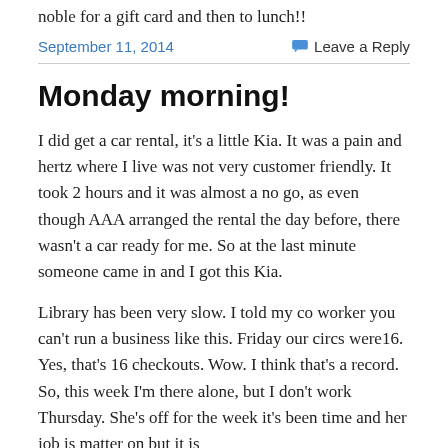noble for a gift card and then to lunch!!
September 11, 2014
Leave a Reply
Monday morning!
I did get a car rental, it's a little Kia. It was a pain and hertz where I live was not very customer friendly. It took 2 hours and it was almost a no go, as even though AAA arranged the rental the day before, there wasn't a car ready for me. So at the last minute someone came in and I got this Kia.
Library has been very slow. I told my co worker you can't run a business like this. Friday our circs were16. Yes, that's 16 checkouts. Wow. I think that's a record. So, this week I'm there alone, but I don't work Thursday. She's off for the week it's been time and her job is matter on but it is